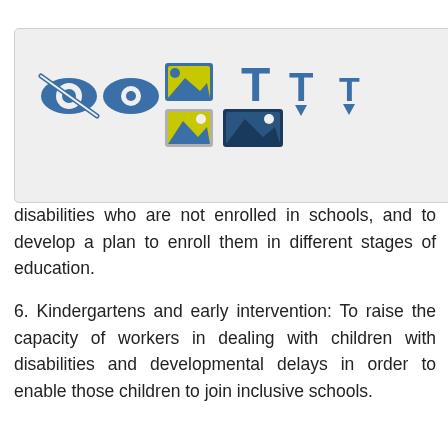[Figure (screenshot): Toolbar overlay with accessibility/view icons and text size controls, partially covering text]
disabilities who are not enrolled in schools, and to develop a plan to enroll them in different stages of education.
6. Kindergartens and early intervention: To raise the capacity of workers in dealing with children with disabilities and developmental delays in order to enable those children to join inclusive schools.
7. To coordinate among the ministries of social development, health and education.